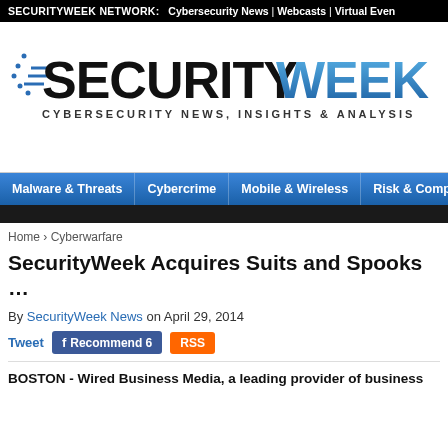SECURITYWEEK NETWORK: Cybersecurity News | Webcasts | Virtual Even
[Figure (logo): SecurityWeek logo with blue gradient 'WEEK' text and tagline 'CYBERSECURITY NEWS, INSIGHTS & ANALYSIS']
Malware & Threats | Cybercrime | Mobile & Wireless | Risk & Complia
Home › Cyberwarfare
SecurityWeek Acquires Suits and Spooks …
By SecurityWeek News on April 29, 2014
Tweet  Recommend 6  RSS
BOSTON - Wired Business Media, a leading provider of business